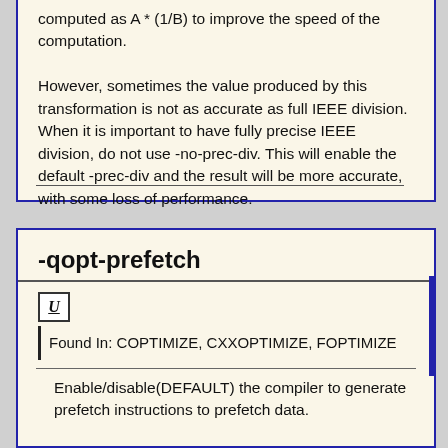computed as A * (1/B) to improve the speed of the computation.

However, sometimes the value produced by this transformation is not as accurate as full IEEE division. When it is important to have fully precise IEEE division, do not use -no-prec-div. This will enable the default -prec-div and the result will be more accurate, with some loss of performance.
-qopt-prefetch
U
Found In: COPTIMIZE, CXXOPTIMIZE, FOPTIMIZE
Enable/disable(DEFAULT) the compiler to generate prefetch instructions to prefetch data.